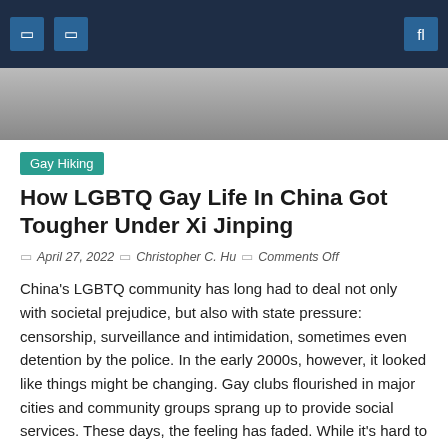Navigation bar with icons
[Figure (photo): Partial photo strip showing an indoor scene, partially visible at the top of the content area]
Gay Hiking
How LGBTQ Gay Life In China Got Tougher Under Xi Jinping
April 27, 2022 | Christopher C. Hu | Comments Off
China's LGBTQ community has long had to deal not only with societal prejudice, but also with state pressure: censorship, surveillance and intimidation, sometimes even detention by the police. In the early 2000s, however, it looked like things might be changing. Gay clubs flourished in major cities and community groups sprang up to provide social services. These days, the feeling has faded. While it's hard to point to direct repression, the reality is that over the past decade it has become harder to be gay in China. This is seen as the consequence of a broader push by President Xi Jinping to